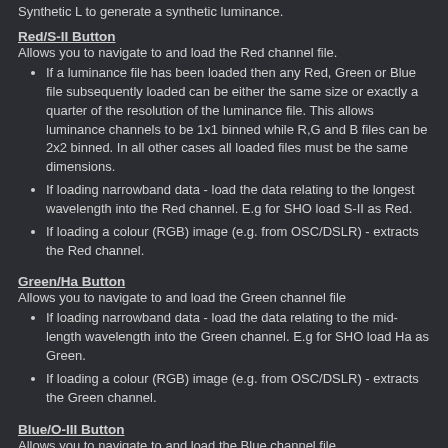Synthetic L to generate a synthetic luminance.
Red/S-II Button
Allows you to navigate to and load the Red channel file.
If a luminance file has been loaded then any Red, Green or Blue file subsequently loaded can be either the same size or exactly a quarter of the resolution of the luminance file. This allows luminance channels to be 1x1 binned while R,G and B files can be 2x2 binned. In all other cases all loaded files must be the same dimensions.
If loading narrowband data - load the data relating to the longest wavelength into the Red channel. E.g for SHO load S-II as Red.
If loading a colour (RGB) image (e.g. from OSC/DSLR) - extracts the Red channel.
Green/Ha Button
Allows you to navigate to and load the Green channel file
If loading narrowband data - load the data relating to the mid-length wavelength into the Green channel. E.g for SHO load Ha as Green.
If loading a colour (RGB) image (e.g. from OSC/DSLR) - extracts the Green channel.
Blue/O-III Button
Allows you to navigate to and load the Blue channel file.